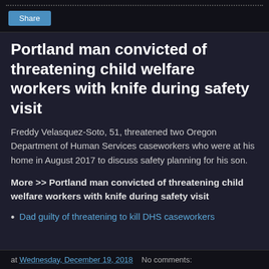Portland man convicted of threatening child welfare workers with knife during safety visit
Freddy Velasquez-Soto, 51, threatened two Oregon Department of Human Services caseworkers who were at his home in August 2017 to discuss safety planning for his son.
More >> Portland man convicted of threatening child welfare workers with knife during safety visit
Dad guilty of threatening to kill DHS caseworkers
at Wednesday, December 19, 2018   No comments: